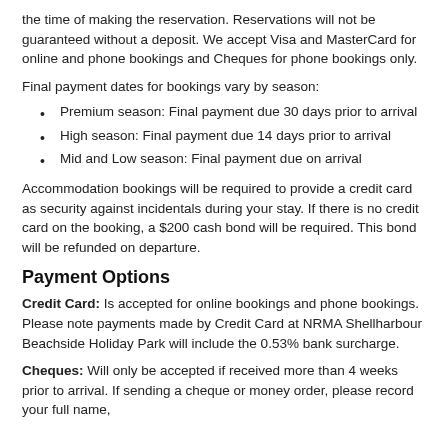the time of making the reservation. Reservations will not be guaranteed without a deposit. We accept Visa and MasterCard for online and phone bookings and Cheques for phone bookings only.
Final payment dates for bookings vary by season:
Premium season: Final payment due 30 days prior to arrival
High season: Final payment due 14 days prior to arrival
Mid and Low season: Final payment due on arrival
Accommodation bookings will be required to provide a credit card as security against incidentals during your stay. If there is no credit card on the booking, a $200 cash bond will be required. This bond will be refunded on departure.
Payment Options
Credit Card: Is accepted for online bookings and phone bookings.
Please note payments made by Credit Card at NRMA Shellharbour Beachside Holiday Park will include the 0.53% bank surcharge.
Cheques: Will only be accepted if received more than 4 weeks prior to arrival. If sending a cheque or money order, please record your full name,